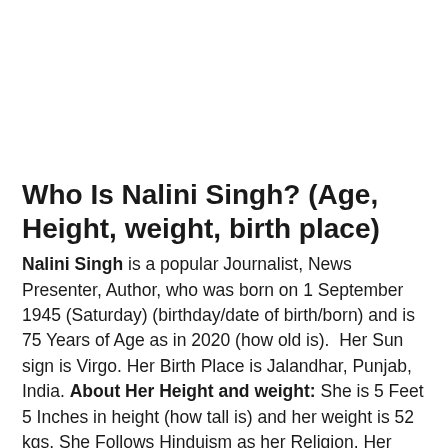Who Is Nalini Singh? (Age, Height, weight, birth place)
Nalini Singh is a popular Journalist, News Presenter, Author, who was born on 1 September 1945 (Saturday) (birthday/date of birth/born) and is 75 Years of Age as in 2020 (how old is).  Her Sun sign is Virgo. Her Birth Place is Jalandhar, Punjab, India. About Her Height and weight: She is 5 Feet 5 Inches in height (how tall is) and her weight is 52 kgs. She Follows Hinduism as her Religion. Her nationality is Indian. Her eye color is Black and her hair color is Black. She is famous and well known for hosting a program on Doordarshan based on investigative journalism name Aankhon Dekhi. She has done her graduation and she has done her studies from Barakhamba's Modern